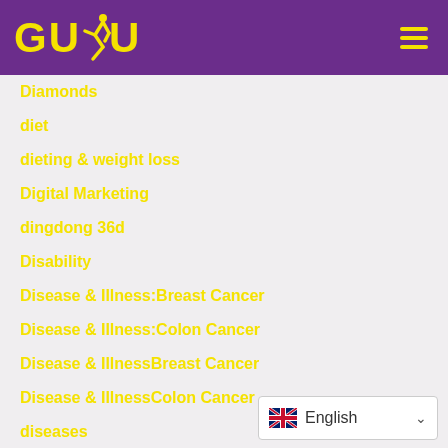[Figure (logo): GUDU logo in yellow on purple header background with running figure silhouette]
Diamonds
diet
dieting & weight loss
Digital Marketing
dingdong 36d
Disability
Disease & Illness:Breast Cancer
Disease & Illness:Colon Cancer
Disease & IllnessBreast Cancer
Disease & IllnessColon Cancer
diseases
diseases & conditions
[Figure (screenshot): Language selector showing UK flag and English with dropdown arrow]